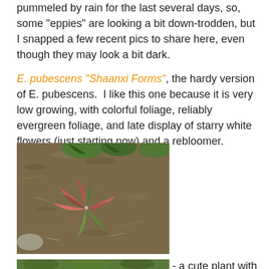pummeled by rain for the last several days, so, some "eppies" are looking a bit down-trodden, but I snapped a few recent pics to share here, even though they may look a bit dark.
E. pubescens "Shaanxi Forms", the hardy version of E. pubescens. I like this one because it is very low growing, with colorful foliage, reliably evergreen foliage, and late display of starry white flowers (just starting now) and a rebloomer.
[Figure (photo): A low-growing plant with green and reddish-pink leaves spreading outward on mulched soil, with green leafy plants in the background.]
E. x cantabrigiensis "Red Form" - a cute plant with tiny red and yellow flowers.
[Figure (photo): Partial view of another plant at the bottom of the page.]